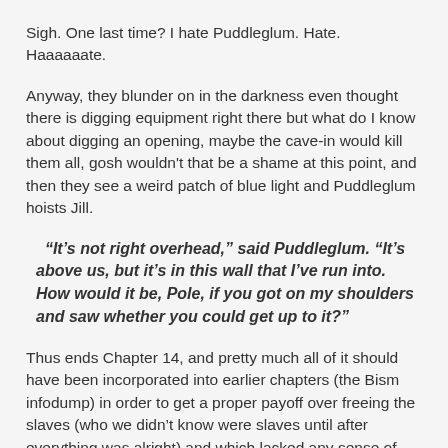Sigh. One last time? I hate Puddleglum. Hate. Haaaaaate.
Anyway, they blunder on in the darkness even thought there is digging equipment right there but what do I know about digging an opening, maybe the cave-in would kill them all, gosh wouldn't that be a shame at this point, and then they see a weird patch of blue light and Puddleglum hoists Jill.
“It’s not right overhead,” said Puddleglum. “It’s above us, but it’s in this wall that I’ve run into. How would it be, Pole, if you got on my shoulders and saw whether you could get up to it?”
Thus ends Chapter 14, and pretty much all of it should have been incorporated into earlier chapters (the Bism infodump) in order to get a proper payoff over freeing the slaves (who we didn’t know were slaves until after everything was alright) and which lacked any sense of urgency (it’s flooding, but tell us the story again, Prince White Man?) and then had no real character growth because real character growth, like real apologies, takes effort. Okay then!